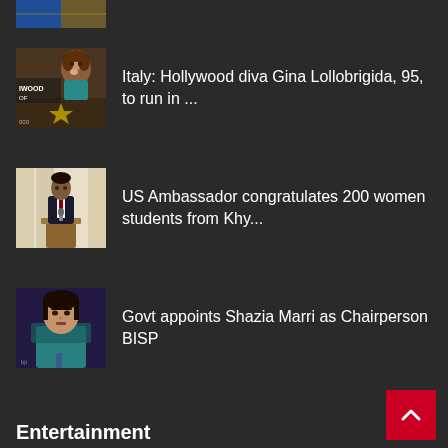[Figure (photo): Partial thumbnail of a news image at top of page (cropped, mostly cut off)]
[Figure (photo): Thumbnail photo of Gina Lollobrigida near a Hollywood Walk of Fame star]
Italy: Hollywood diva Gina Lollobrigida, 95, to run in ...
[Figure (photo): Thumbnail photo of US Ambassador speaking at a podium]
US Ambassador congratulates 200 women students from Khy...
[Figure (photo): Thumbnail photo of Shazia Marri]
Govt appoints Shazia Marri as Chairperson BISP
Entertainment